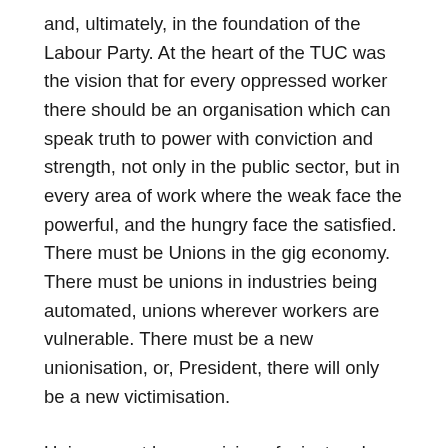and, ultimately, in the foundation of the Labour Party. At the heart of the TUC was the vision that for every oppressed worker there should be an organisation which can speak truth to power with conviction and strength, not only in the public sector, but in every area of work where the weak face the powerful, and the hungry face the satisfied. There must be Unions in the gig economy. There must be unions in industries being automated, unions wherever workers are vulnerable. There must be a new unionisation, or, President, there will only be a new victimisation.
Unions must have a vision of a just and a righteous society. Power and influence are not zero-sum games – when we seek the common good all benefit. The world in which we live at the moment, in